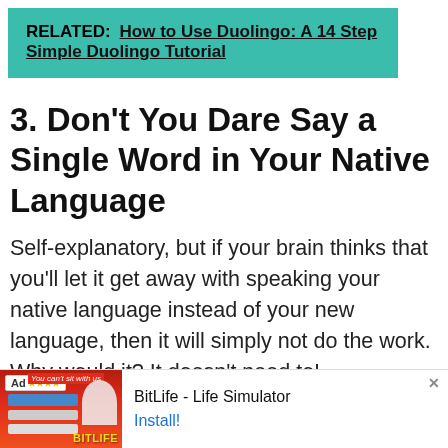RELATED: How to Use Duolingo: A 14 Step Simple Duolingo Tutorial
3. Don't You Dare Say a Single Word in Your Native Language
Self-explanatory, but if your brain thinks that you'll let it get away with speaking your native language instead of your new language, then it will simply not do the work. Why would it? It doesn't need to!
[Figure (screenshot): Advertisement banner for BitLife - Life Simulator app with Ad label, game screenshot, and Install button]